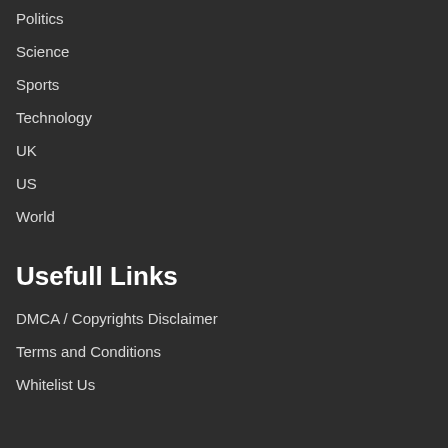Politics
Science
Sports
Technology
UK
US
World
Usefull Links
DMCA / Copyrights Disclaimer
Terms and Conditions
Whitelist Us